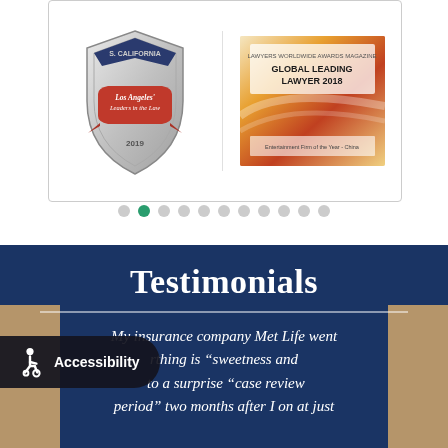[Figure (photo): Award carousel showing two awards: S. California Los Angeles Leaders in the Law 2019 badge (shield shape) and Lawyers Worldwide Awards Magazine Global Leading Lawyer 2018 certificate. Below the carousel are navigation dots (11 total), with the second dot highlighted in green/teal.]
Testimonials
My insurance company Met Life went ... rthing is "sweetness and ... to a surprise "case review period" two months after I on at just